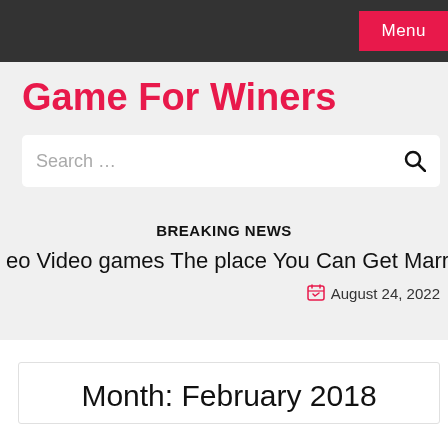Menu
Game For Winers
Search …
BREAKING NEWS
eo Video games The place You Can Get Married  |  14 Game
August 24, 2022
Month: February 2018